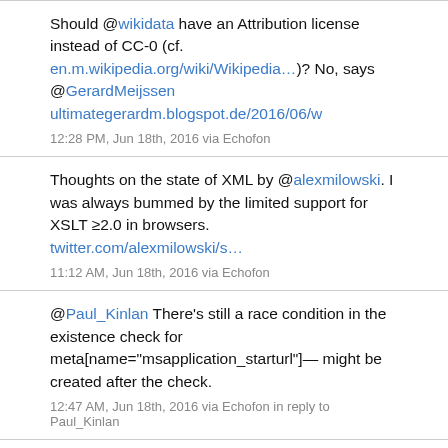Should @wikidata have an Attribution license instead of CC-0 (cf. en.m.wikipedia.org/wiki/Wikipedia…)? No, says @GerardMeijssen ultimategerardm.blogspot.de/2016/06/w
12:28 PM, Jun 18th, 2016 via Echofon
Thoughts on the state of XML by @alexmilowski. I was always bummed by the limited support for XSLT ≥2.0 in browsers. twitter.com/alexmilowski/s…
11:12 AM, Jun 18th, 2016 via Echofon
@Paul_Kinlan There's still a race condition in the existence check for meta[name="msapplication_starturl"]— might be created after the check.
12:47 AM, Jun 18th, 2016 via Echofon in reply to Paul_Kinlan
[Figure (photo): Partial image preview at the bottom of the page, appears to be a blue/teal colored photo]